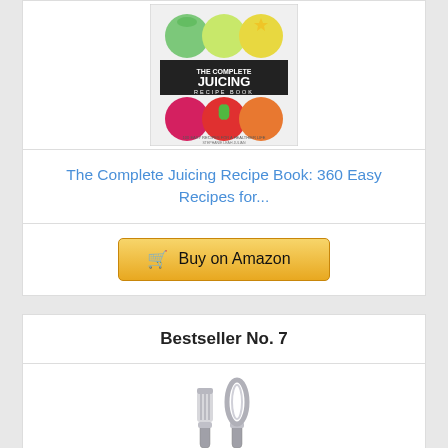[Figure (photo): Book cover of 'The Complete Juicing Recipe Book' showing colorful juice drinks in glasses]
The Complete Juicing Recipe Book: 360 Easy Recipes for...
[Figure (other): Buy on Amazon button with shopping cart icon]
Bestseller No. 7
[Figure (photo): Two cleaning brushes with gray handles]